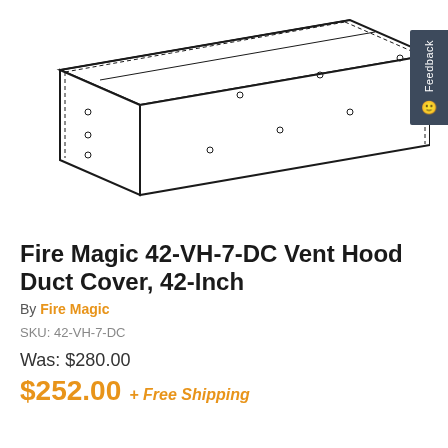[Figure (illustration): Technical line drawing / schematic of a vent hood duct cover shown in isometric perspective view. The cover is a rectangular box shape with dashed lines indicating mounting holes or seams along the edges.]
Fire Magic 42-VH-7-DC Vent Hood Duct Cover, 42-Inch
By Fire Magic
SKU: 42-VH-7-DC
Was: $280.00
$252.00 + Free Shipping